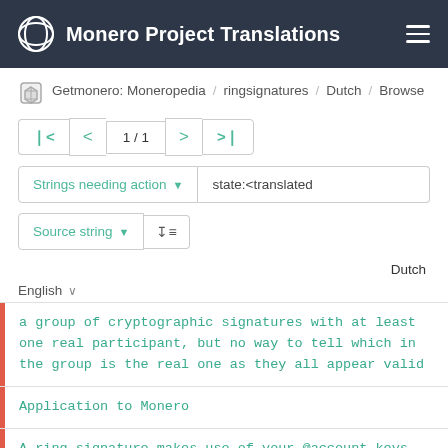Monero Project Translations
Getmonero: Moneropedia / ringsignatures / Dutch / Browse
1 / 1
Strings needing action   state:<translated
Source string
Dutch
English
a group of cryptographic signatures with at least one real participant, but no way to tell which in the group is the real one as they all appear valid
Application to Monero
A ring signature makes use of your @account keys